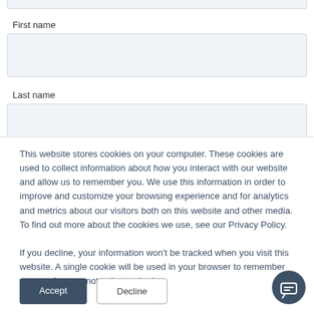[Figure (screenshot): Top partial input field (cropped at top of page)]
First name
[Figure (screenshot): First name text input field (empty)]
Last name
[Figure (screenshot): Last name text input field (empty, partially visible)]
This website stores cookies on your computer. These cookies are used to collect information about how you interact with our website and allow us to remember you. We use this information in order to improve and customize your browsing experience and for analytics and metrics about our visitors both on this website and other media. To find out more about the cookies we use, see our Privacy Policy.

If you decline, your information won't be tracked when you visit this website. A single cookie will be used in your browser to remember your preference not to be tracked.
[Figure (screenshot): Accept button (dark blue) and Decline button (outlined), plus chat bubble icon in bottom right]